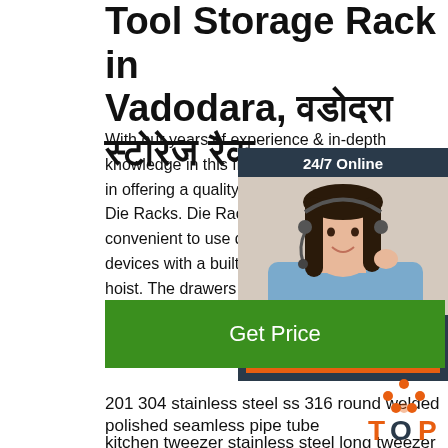Tool Storage Rack in Vadodara, वडोदरा स्टोरेज रैक,
With our years of experience & in-depth knowledge in this field, we are engaged in offering a quality-assured array of SS Die Racks. Die Racks are very convenient to use die/mold storage devices with a built in lifting and chain hoist. The drawers are …
[Figure (other): 24/7 Online chat widget with a customer service representative photo and a QUOTATION button]
[Figure (other): Get Price green button]
201 304 stainless steel ss 316 round welded
polished seamless pipe tube
kitchen tweezer stainless steel long tweezer
surgical cooking pincette sea food bar
[Figure (logo): TOP logo with orange dots forming a triangle above the word TOP]